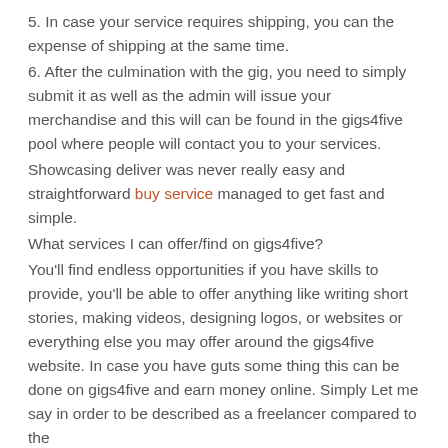5. In case your service requires shipping, you can the expense of shipping at the same time.
6. After the culmination with the gig, you need to simply submit it as well as the admin will issue your merchandise and this will can be found in the gigs4five pool where people will contact you to your services.
Showcasing deliver was never really easy and straightforward buy service managed to get fast and simple.
What services I can offer/find on gigs4five?
You'll find endless opportunities if you have skills to provide, you'll be able to offer anything like writing short stories, making videos, designing logos, or websites or everything else you may offer around the gigs4five website. In case you have guts some thing this can be done on gigs4five and earn money online. Simply Let me say in order to be described as a freelancer compared to the